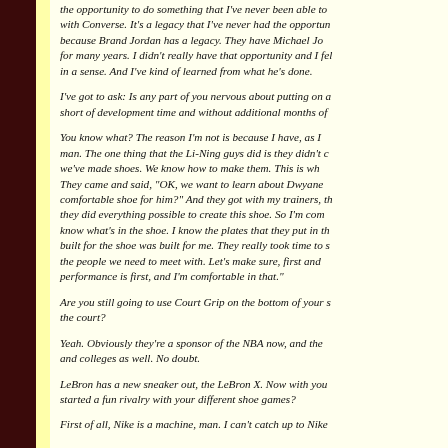the opportunity to do something that I've never been able to with Converse. It's a legacy that I've never had the opportunity because Brand Jordan has a legacy. They have Michael Jo for many years. I didn't really have that opportunity and I fe in a sense. And I've kind of learned from what he's done.
I've got to ask: Is any part of you nervous about putting on a short of development time and without additional months of
You know what? The reason I'm not is because I have, as I man. The one thing that the Li-Ning guys did is they didn't c we've made shoes. We know how to make them. This is wh They came and said, "OK, we want to learn about Dwyane comfortable shoe for him?" And they got with my trainers, th they did everything possible to create this shoe. So I'm com know what's in the shoe. I know the plates that they put in th built for the shoe was built for me. They really took time to s the people we need to meet with. Let's make sure, first and performance is first, and I'm comfortable in that."
Are you still going to use Court Grip on the bottom of your s the court?
Yeah. Obviously they're a sponsor of the NBA now, and the and colleges as well. No doubt.
LeBron has a new sneaker out, the LeBron X. Now with you started a fun rivalry with your different shoe games?
First of all, Nike is a machine, man. I can't catch up to Nike